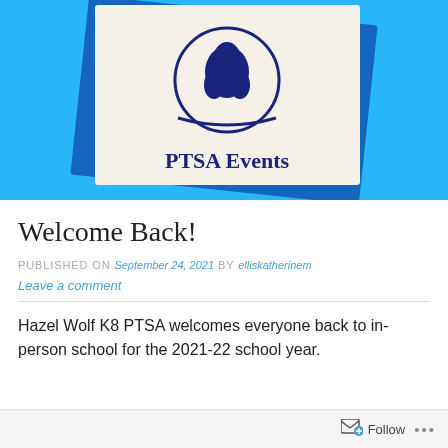[Figure (illustration): PTSA Events banner image with light blue background, dark blue tilted card showing a wolf/animal logo circle icon and text 'PTSA Events' in dark navy serif font]
Welcome Back!
PUBLISHED ON September 24, 2021 by elliskatherinem
Leave a comment
Hazel Wolf K8 PTSA welcomes everyone back to in-person school for the 2021-22 school year.
Follow